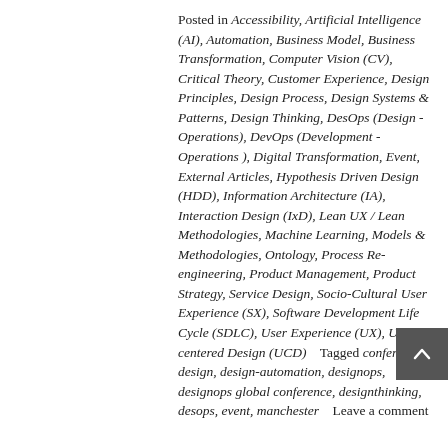Posted in Accessibility, Artificial Intelligence (AI), Automation, Business Model, Business Transformation, Computer Vision (CV), Critical Theory, Customer Experience, Design Principles, Design Process, Design Systems & Patterns, Design Thinking, DesOps (Design - Operations), DevOps (Development - Operations ), Digital Transformation, Event, External Articles, Hypothesis Driven Design (HDD), Information Architecture (IA), Interaction Design (IxD), Lean UX / Lean Methodologies, Machine Learning, Models & Methodologies, Ontology, Process Re-engineering, Product Management, Product Strategy, Service Design, Socio-Cultural User Experience (SX), Software Development Life Cycle (SDLC), User Experience (UX), User-centered Design (UCD)    Tagged conference, design, design-automation, designops, designops global conference, designthinking, desops, event, manchester    Leave a comment